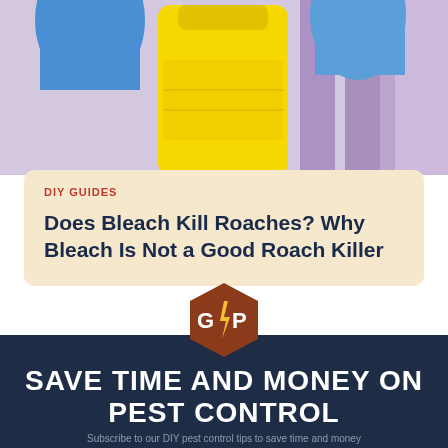[Figure (photo): Person wearing blue rubber gloves holding a yellow spray bottle with purple striped background]
DIY GUIDES
Does Bleach Kill Roaches? Why Bleach Is Not a Good Roach Killer
[Figure (logo): Hexagon logo with letters G and P separated by a lightning bolt, brown/rust colored]
SAVE TIME AND MONEY ON PEST CONTROL
Subscribe to our DIY pest control tips to save time and money